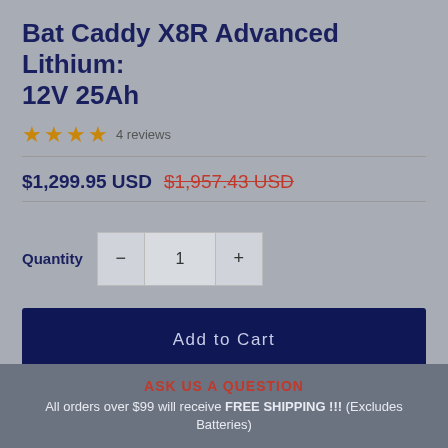Bat Caddy X8R Advanced Lithium: 12V 25Ah
★★★★ 4 reviews
$1,299.95 USD  $1,957.43 USD (strikethrough)
Quantity 1
Add to Cart
As low as $64.86/mo with PayPal. Learn more
ASK US A QUESTION
All orders over $99 will receive FREE SHIPPING !!! (Excludes Batteries)